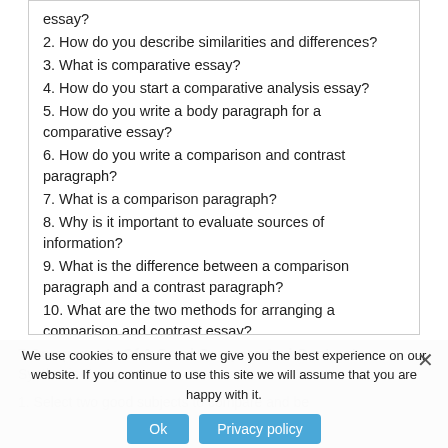essay?
2. How do you describe similarities and differences?
3. What is comparative essay?
4. How do you start a comparative analysis essay?
5. How do you write a body paragraph for a comparative essay?
6. How do you write a comparison and contrast paragraph?
7. What is a comparison paragraph?
8. Why is it important to evaluate sources of information?
9. What is the difference between a comparison paragraph and a contrast paragraph?
10. What are the two methods for arranging a comparison and contrast essay?
7 Components Of A Good Compare And Contrast Synthesis Essay
1. Select two good subjects to compare and be
We use cookies to ensure that we give you the best experience on our website. If you continue to use this site we will assume that you are happy with it.